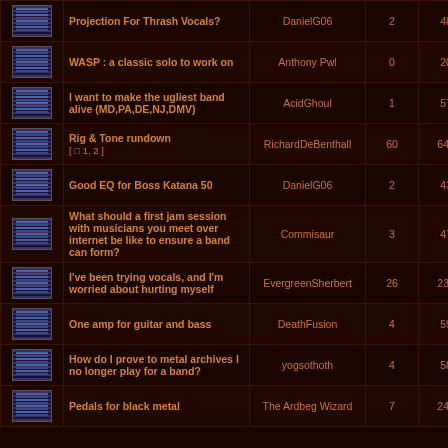| Icon | Topic | Author | Replies | Views | Last Post |
| --- | --- | --- | --- | --- | --- |
| [icon] | Projection For Thrash Vocals? | DanielG06 | 2 | 483 | Sun Jun ... Da... |
| [icon] | WASP : a classic solo to work on | Anthony Pwl | 0 | 201 | Mon Jun ... Ant... |
| [icon] | I want to make the ugliest band alive (MD,PA,DE,NJ,DMV) | AcidGhoul | 1 | 571 | Sun Jun ... Uncouth... |
| [icon] | Rig & Tone rundown [ 1, 2 ] | RichardDeBenthall | 60 | 6471 | Fri Jun ... Lord_O... |
| [icon] | Good EQ for Boss Katana 50 | DanielG06 | 2 | 433 | Sun May ... Da... |
| [icon] | What should a first jam session with musicians you meet over internet be like to ensure a band can form? | Commisaur | 3 | 475 | Thu May ... coup... |
| [icon] | I've been trying vocals, and I'm worried about hurting myself | EvergreenSherbert | 26 | 2361 | Fri May ... XSp... |
| [icon] | One amp for guitar and bass | DeathFusion | 4 | 591 | Fri Apr 2... Shaoli... |
| [icon] | How do I prove to metal archives I no longer play for a band? | yogsothoth | 4 | 587 | Wed Apr ... Da... |
| [icon] | Pedals for black metal | The Ardbeg Wizard | 7 | 2415 | Wed Apr ... |